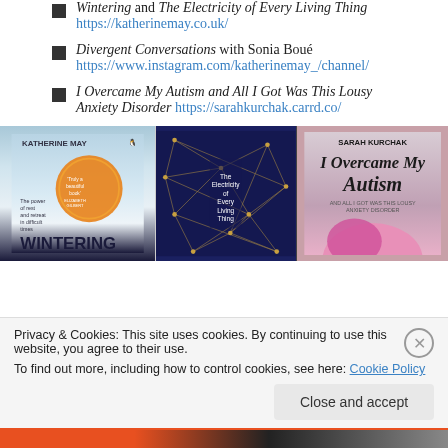Wintering and The Electricity of Every Living Thing https://katherinemay.co.uk/
Divergent Conversations with Sonia Boué https://www.instagram.com/katherinemay_/channel/
I Overcame My Autism and All I Got Was This Lousy Anxiety Disorder https://sarahkurchak.carrd.co/
[Figure (photo): Three book covers shown side by side: 'Wintering' by Katherine May (light blue cover with orange circle), 'The Electricity of Every Living Thing' (dark blue cover with network/constellation pattern), and 'I Overcame My Autism' by Sarah Kurchak (pink/grey cover with title in large script).]
Privacy & Cookies: This site uses cookies. By continuing to use this website, you agree to their use.
To find out more, including how to control cookies, see here: Cookie Policy
Close and accept